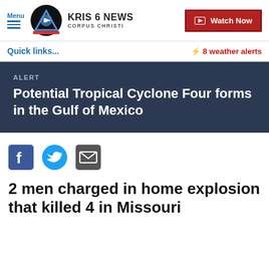Menu | KRIS 6 NEWS CORPUS CHRISTI | Watch Now
Quick links...
⚡ 8 weather alerts
ALERT
Potential Tropical Cyclone Four forms in the Gulf of Mexico
[Figure (other): Social share icons: Facebook, Twitter, Email]
2 men charged in home explosion that killed 4 in Missouri